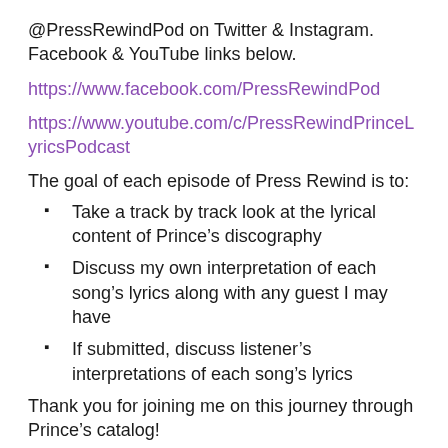@PressRewindPod on Twitter & Instagram. Facebook & YouTube links below.
https://www.facebook.com/PressRewindPod
https://www.youtube.com/c/PressRewindPrinceLyricsPodcast
The goal of each episode of Press Rewind is to:
Take a track by track look at the lyrical content of Prince’s discography
Discuss my own interpretation of each song’s lyrics along with any guest I may have
If submitted, discuss listener’s interpretations of each song’s lyrics
Thank you for joining me on this journey through Prince’s catalog!